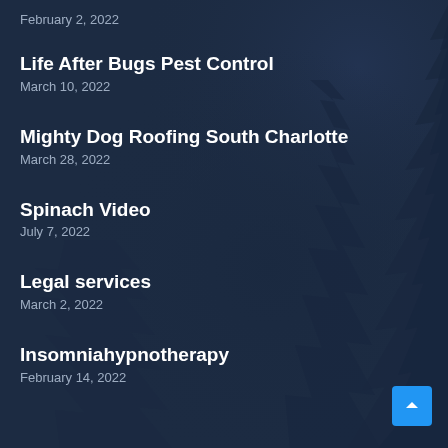February 2, 2022
Life After Bugs Pest Control
March 10, 2022
Mighty Dog Roofing South Charlotte
March 28, 2022
Spinach Video
July 7, 2022
Legal services
March 2, 2022
Insomniahypnotherapy
February 14, 2022